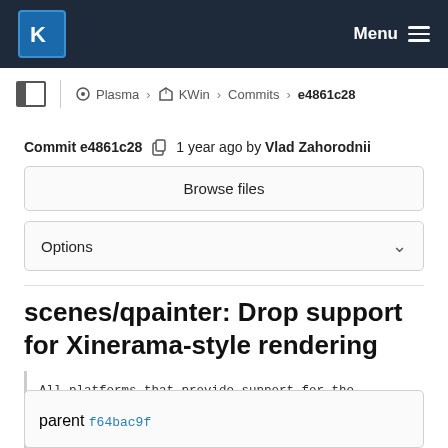KDE Menu
Plasma › KWin › Commits › e4861c28
Commit e4861c28 1 year ago by Vlad Zahorodnii
Browse files
Options
scenes/qpainter: Drop support for Xinerama-style rendering
All platforms that provide support for the QPainter per screen rendering. Since there is no any way to t rendering, it's better to drop the dead code.
parent f64bac9f